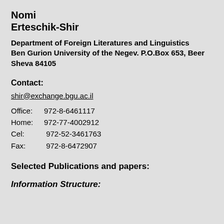Nomi Erteschik-Shir
Department of Foreign Literatures and Linguistics Ben Gurion University of the Negev. P.O.Box 653, Beer Sheva 84105
Contact:
shir@exchange.bgu.ac.il
Office: 972-8-6461117
Home: 972-77-4002912
Cel: 972-52-3461763
Fax: 972-8-6472907
Selected Publications and papers:
Information Structure: